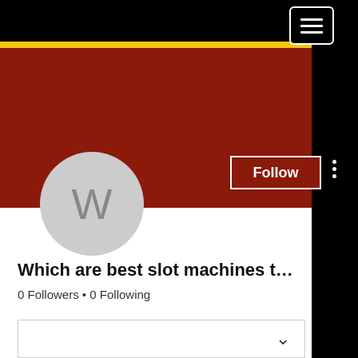[Figure (screenshot): Mobile website screenshot showing a user profile page with black top navigation bar containing a hamburger menu button, a yellow stripe, a dark red/maroon profile banner, a circular avatar with the letter W, a Follow button, a three-dot menu, username text truncated as 'Which are best slot machines t...', followers/following counts, a dropdown selector, a Profile section header, and a join date.]
Which are best slot machines t…
0 Followers • 0 Following
Profile
Join date: May 17, 2022